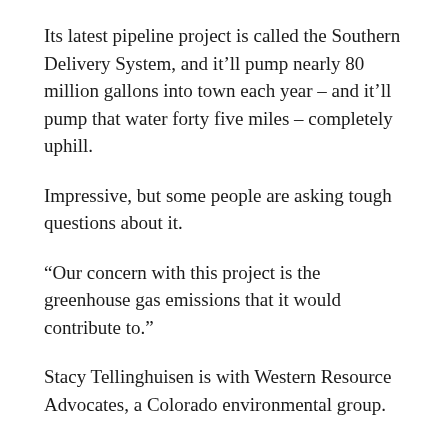Its latest pipeline project is called the Southern Delivery System, and it'll pump nearly 80 million gallons into town each year – and it'll pump that water forty five miles – completely uphill.
Impressive, but some people are asking tough questions about it.
“Our concern with this project is the greenhouse gas emissions that it would contribute to.”
Stacy Tellinghuisen is with Western Resource Advocates, a Colorado environmental group.